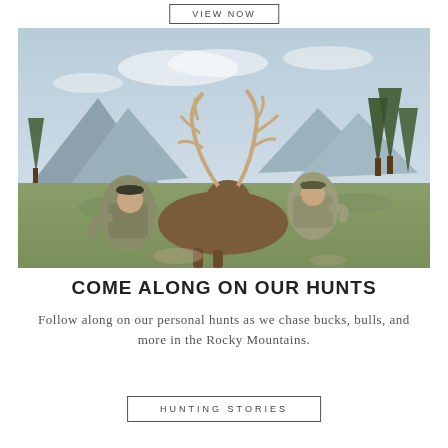VIEW NOW
[Figure (photo): Two hunters posing with a large bull elk with impressive antlers in a mountain meadow with pine trees and mountains in the background. Both men are wearing camouflage clothing and caps.]
COME ALONG ON OUR HUNTS
Follow along on our personal hunts as we chase bucks, bulls, and more in the Rocky Mountains.
HUNTING STORIES